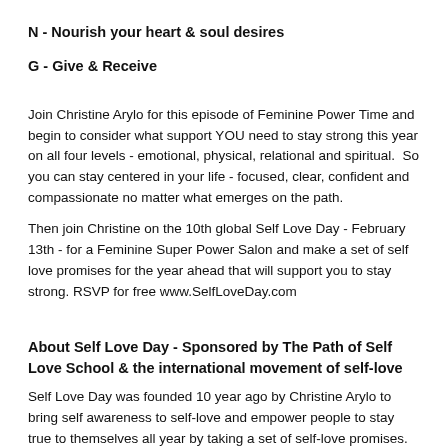N - Nourish your heart & soul desires
G - Give & Receive
Join Christine Arylo for this episode of Feminine Power Time and begin to consider what support YOU need to stay strong this year on all four levels - emotional, physical, relational and spiritual.  So you can stay centered in your life - focused, clear, confident and compassionate no matter what emerges on the path.
Then join Christine on the 10th global Self Love Day - February 13th - for a Feminine Super Power Salon and make a set of self love promises for the year ahead that will support you to stay strong. RSVP for free www.SelfLoveDay.com
About Self Love Day - Sponsored by The Path of Self Love School & the international movement of self-love
Self Love Day was founded 10 year ago by Christine Arylo to bring self awareness to self-love and empower people to stay true to themselves all year by taking a set of self-love promises. Sponsored by The Path of Self Love School, whose mission is to serve 1 billion hearts the medicine and message of self-love. To make the teachings and practices of self love as accessible and as widely available as possible.